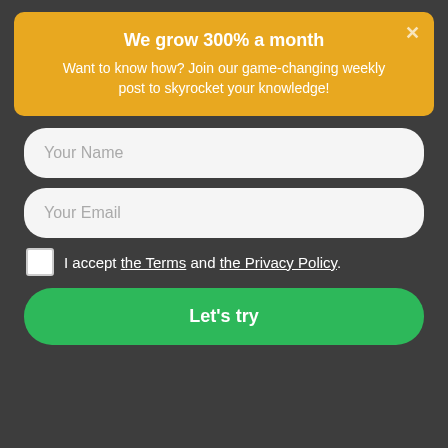We grow 300% a month
Want to know how? Join our game-changing weekly post to skyrocket your knowledge!
Your Name
Your Email
I accept the Terms and the Privacy Policy.
Let's try
viable.
[Figure (logo): Convertful badge with lightning bolt icon]
Miners also don’t have to worry about the cost of electricity, the heat, or the noise caused by mining equipment.